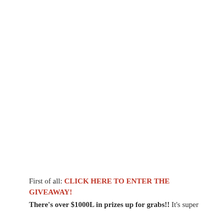First of all: CLICK HERE TO ENTER THE GIVEAWAY! There's over $1000L in prizes up for grabs!! It's super